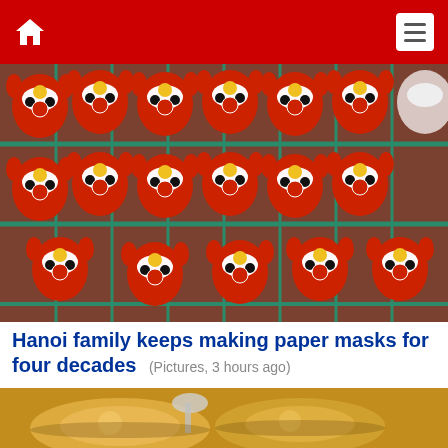Navigation bar with home icon and menu icon
[Figure (photo): Red and white Vietnamese paper masks (pig/cat shaped) with yellow floral decorations, hanging on a green wire rack display in a market]
Hanoi family keeps making paper masks for four decades
(Pictures, 3 hours ago)
[Figure (photo): Close-up of food bowls with soup or dessert being served with a spoon, warm yellowish tones]